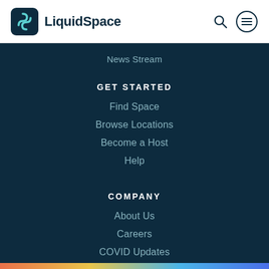LiquidSpace
News Stream
GET STARTED
Find Space
Browse Locations
Become a Host
Help
COMPANY
About Us
Careers
COVID Updates